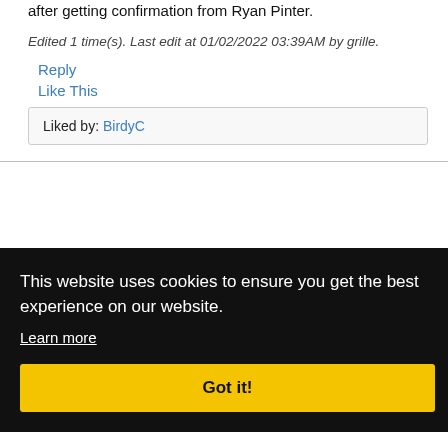after getting confirmation from Ryan Pinter.
Edited 1 time(s). Last edit at 01/02/2022 03:39AM by grille.
Reply
Like This
Liked by: BirdyC
This website uses cookies to ensure you get the best experience on our website.
Learn more
Got it!
00AM
for hey
Liked by: BirdyC